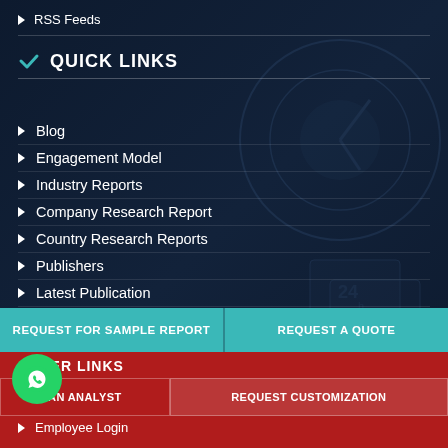RSS Feeds
QUICK LINKS
Blog
Engagement Model
Industry Reports
Company Research Report
Country Research Reports
Publishers
Latest Publication
Upcoming Publication
Bundle Discount
REQUEST FOR SAMPLE REPORT
REQUEST A QUOTE
OTHER LINKS
AN ANALYST
REQUEST CUSTOMIZATION
Employee Login